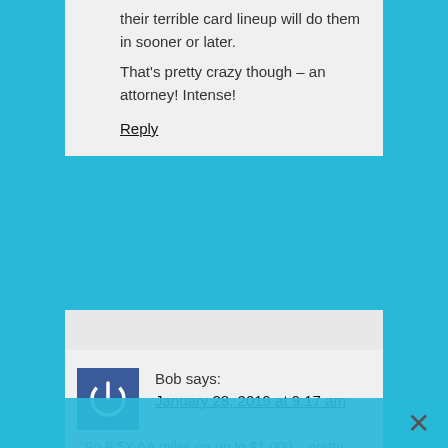their terrible card lineup will do them in sooner or later.

That's pretty crazy though – an attorney! Intense!
Reply
Bob says:
January 28, 2019 at 9:17 am
"So 8.5X AA miles on up to $1,000 – pretty great deal!"